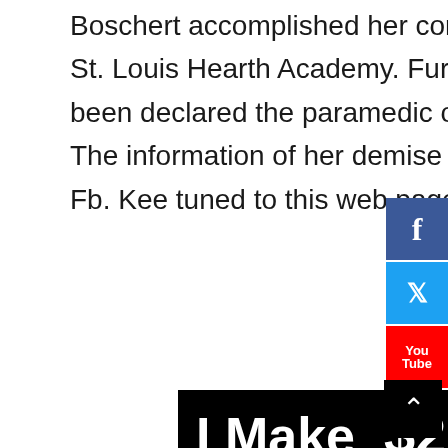Boschert accomplished her commencement course final yr from St. Louis Hearth Academy. Furthermore, she had additionally been declared the paramedic of the yr at Christian Hospital EMS. The information of her demise was shared by her pal by way of Fb. Kee tuned to this web page.
[Figure (infographic): Advertisement banner with black background showing 'I Make $250 Every Day! work from home and make $7,397 a Month See How...' with a smiling woman holding a pen, and a red 'See How...' button at the bottom.]